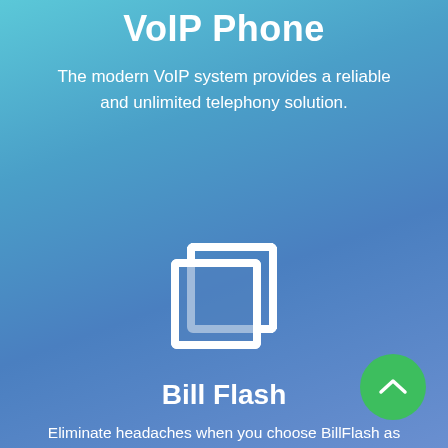VoIP Phone
The modern VoIP system provides a reliable and unlimited telephony solution.
[Figure (illustration): Two overlapping squares icon representing Bill Flash / copy/billing icon, white outline on blue background]
Bill Flash
Eliminate headaches when you choose BillFlash as your solution for Billing & Payment Services